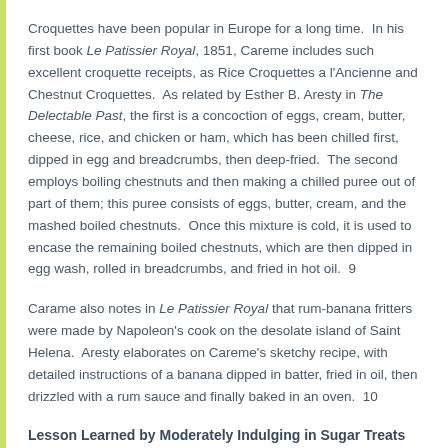Croquettes have been popular in Europe for a long time.  In his first book Le Patissier Royal, 1851, Careme includes such excellent croquette receipts, as Rice Croquettes a l'Ancienne and Chestnut Croquettes.  As related by Esther B. Aresty in The Delectable Past, the first is a concoction of eggs, cream, butter, cheese, rice, and chicken or ham, which has been chilled first, dipped in egg and breadcrumbs, then deep-fried.  The second employs boiling chestnuts and then making a chilled puree out of part of them; this puree consists of eggs, butter, cream, and the mashed boiled chestnuts.  Once this mixture is cold, it is used to encase the remaining boiled chestnuts, which are then dipped in egg wash, rolled in breadcrumbs, and fried in hot oil.  9
Carame also notes in Le Patissier Royal that rum-banana fritters were made by Napoleon's cook on the desolate island of Saint Helena.  Aresty elaborates on Careme's sketchy recipe, with detailed instructions of a banana dipped in batter, fried in oil, then drizzled with a rum sauce and finally baked in an oven.  10
Lesson Learned by Moderately Indulging in Sugar Treats
There is nothing health-redeeming about the above African chin chin